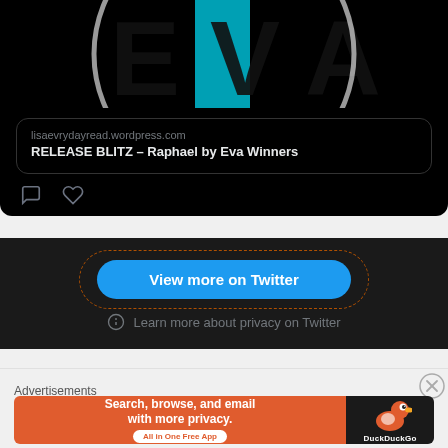[Figure (screenshot): Twitter/X embedded tweet dark card showing a cropped EVA logo image with teal and black colors, followed by a link card showing lisaevrydayread.wordpress.com and title 'RELEASE BLITZ – Raphael by Eva Winners', with comment and like icons below]
View more on Twitter
Learn more about privacy on Twitter
Advertisements
[Figure (infographic): DuckDuckGo advertisement banner: orange left side reading 'Search, browse, and email with more privacy. All in One Free App', dark right side with DuckDuckGo duck logo]